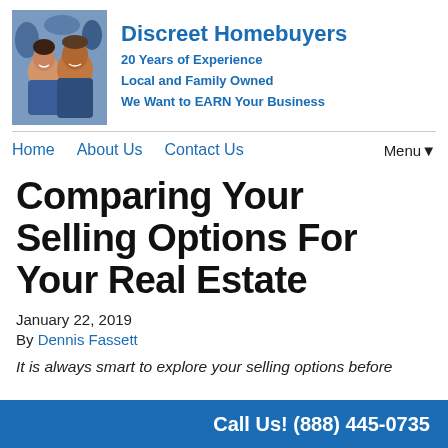[Figure (photo): Photo of a man and woman smiling, appearing to be outdoors at an event with crowd in background]
Discreet Homebuyers
20 Years of Experience
Local and Family Owned
We Want to EARN Your Business
Home  About Us  Contact Us  Menu▼
Comparing Your Selling Options For Your Real Estate
January 22, 2019
By Dennis Fassett
It is always smart to explore your selling options before selling.
Call Us! (888) 445-0735